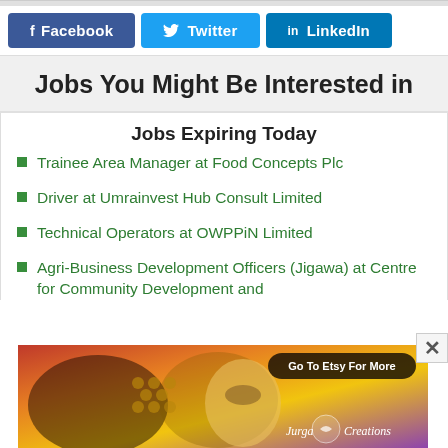[Figure (screenshot): Social sharing buttons: Facebook, Twitter, LinkedIn]
Jobs You Might Be Interested in
Jobs Expiring Today
Trainee Area Manager at Food Concepts Plc
Driver at Umrainvest Hub Consult Limited
Technical Operators at OWPPiN Limited
Agri-Business Development Officers (Jigawa) at Centre for Community Development and
[Figure (illustration): Decorative advertisement banner with artistic face illustration and 'Go To Etsy For More' button, Jurga Creations branding]